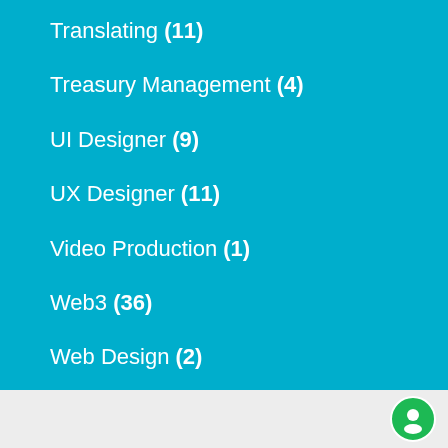Translating (11)
Treasury Management (4)
UI Designer (9)
UX Designer (11)
Video Production (1)
Web3 (36)
Web Design (2)
Web Developer (27)